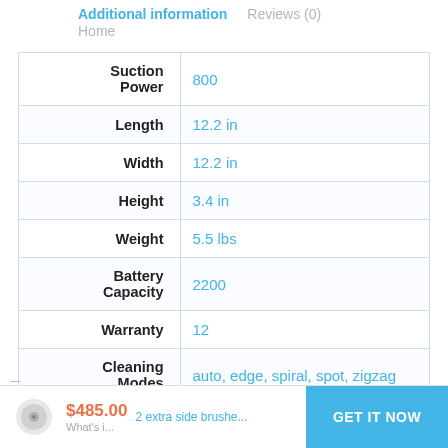Additional information  Reviews (0)  Home
| Attribute | Value |
| --- | --- |
| Suction Power | 800 |
| Length | 12.2 in |
| Width | 12.2 in |
| Height | 3.4 in |
| Weight | 5.5 lbs |
| Battery Capacity | 2200 |
| Warranty | 12 |
| Cleaning Modes | auto, edge, spiral, spot, zigzag |
$485.00  2 extra side brushes  GET IT NOW